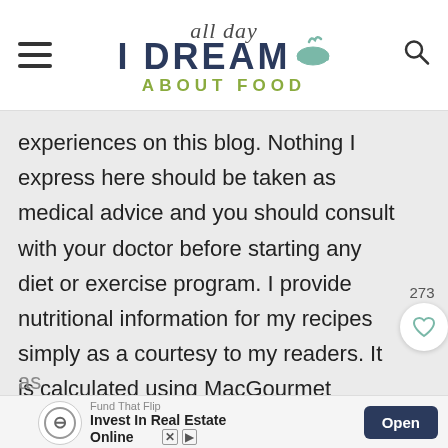all day I DREAM ABOUT FOOD
experiences on this blog. Nothing I express here should be taken as medical advice and you should consult with your doctor before starting any diet or exercise program. I provide nutritional information for my recipes simply as a courtesy to my readers. It is calculated using MacGourmet software and I remove erythritol from the final carb count and net carb count, as
[Figure (other): Advertisement banner: Fund That Flip - Invest In Real Estate Online, with Open button]